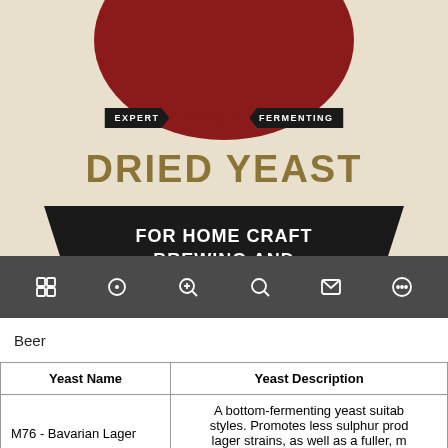[Figure (photo): Product label for Dried Yeast for Home Craft Brewing and Wine Making. Shows a cream/beige background with a dark red circle at top, banners reading EXPERT, Handcrafted, FERMENTING, large gold text DRIED YEAST, and a black banner reading FOR HOME CRAFT BREWING AND WINE MAKING. Below is a dark toolbar with icons.]
Beer
| Yeast Name | Yeast Description |
| --- | --- |
| M76 - Bavarian Lager | A bottom-fermenting yeast suitab... styles. Promotes less sulphur prod... lager strains, as well as a fuller, m... character with well-promoted... |